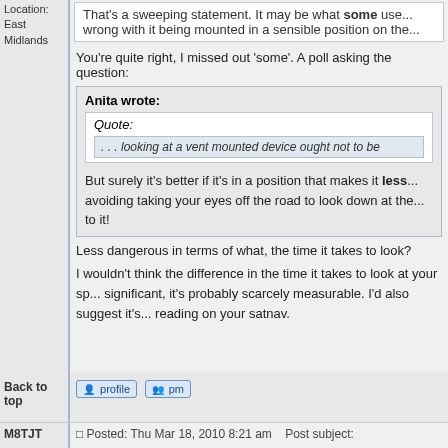Location: East Midlands
That's a sweeping statement. It may be what some use... wrong with it being mounted in a sensible position on the...
You're quite right, I missed out 'some'. A poll asking the question:
Anita wrote:
Quote:
. . . looking at a vent mounted device ought not to be
But surely it's better if it's in a position that makes it less... avoiding taking your eyes off the road to look down at the... to it!
Less dangerous in terms of what, the time it takes to look?
I wouldn't think the difference in the time it takes to look at your sp... significant, it's probably scarcely measurable. I'd also suggest it's... reading on your satnav.
Back to top
M8TJT
Posted: Thu Mar 18, 2010 8:21 am   Post subject: